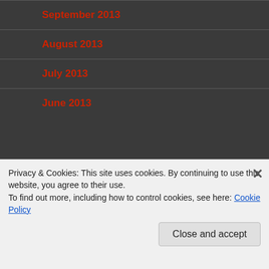September 2013
August 2013
July 2013
June 2013
Advertisements
[Figure (illustration): Advertisement banner with light blue background showing three circular icons with figures/characters]
Privacy & Cookies: This site uses cookies. By continuing to use this website, you agree to their use.
To find out more, including how to control cookies, see here: Cookie Policy
Close and accept